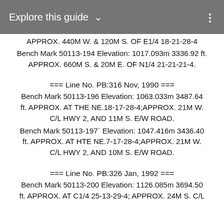Explore this guide ∨
APPROX. 440M W. & 120M S. OF E1/4 18-21-28-4
Bench Mark 50113-194 Elevation: 1017.093m 3336.92 ft. APPROX. 660M S. & 20M E. OF N1/4 21-21-21-4.
=== Line No. PB:316 Nov, 1990 ===
Bench Mark 50113-196 Elevation: 1063.033m 3487.64 ft. APPROX. AT THE NE.18-17-28-4;APPROX. 21M W. C/L HWY 2, AND 11M S. E/W ROAD.
Bench Mark 50113-197` Elevation: 1047.416m 3436.40 ft. APPROX. AT HTE NE.7-17-28-4;APPROX. 21M W. C/L HWY 2, AND 10M S. E/W ROAD.
=== Line No. PB:326 Jan, 1992 ===
Bench Mark 50113-200 Elevation: 1126.085m 3694.50 ft. APPROX. AT C1/4 25-13-29-4; APPROX. 24M S. C/L